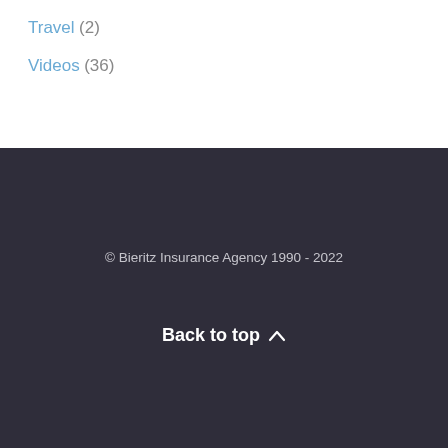Travel (2)
Videos (36)
© Bieritz Insurance Agency 1990 - 2022
Back to top ∧